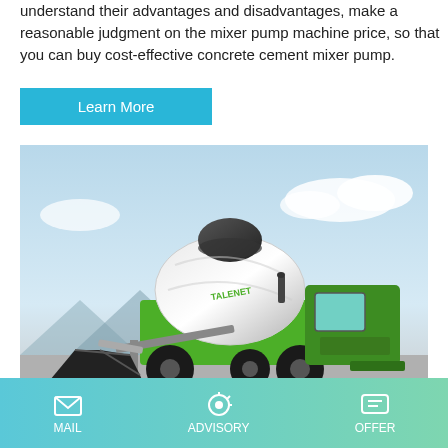understand their advantages and disadvantages, make a reasonable judgment on the mixer pump machine price, so that you can buy cost-effective concrete cement mixer pump.
Learn More
[Figure (photo): Green self-loading concrete mixer truck with rotating drum and front bucket attachment, photographed against a light blue sky background.]
China Portable Concrete Mixer With
MAIL   ADVISORY   OFFER